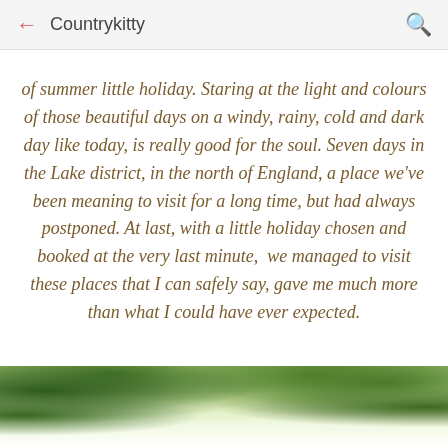← Countrykitty 🔍
of summer little holiday. Staring at the light and colours of those beautiful days on a windy, rainy, cold and dark day like today, is really good for the soul. Seven days in the Lake district, in the north of England, a place we've been meaning to visit for a long time, but had always postponed. At last, with a little holiday chosen and booked at the very last minute,  we managed to visit these places that I can safely say, gave me much more than what I could have ever expected.
[Figure (photo): Photograph showing green tree foliage and leaves against a bright sky, cropped at the bottom of the page]